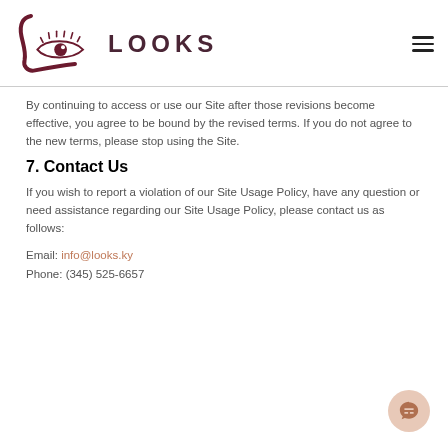Looks logo and navigation
By continuing to access or use our Site after those revisions become effective, you agree to be bound by the revised terms. If you do not agree to the new terms, please stop using the Site.
7. Contact Us
If you wish to report a violation of our Site Usage Policy, have any question or need assistance regarding our Site Usage Policy, please contact us as follows:
Email: info@looks.ky
Phone: (345) 525-6657